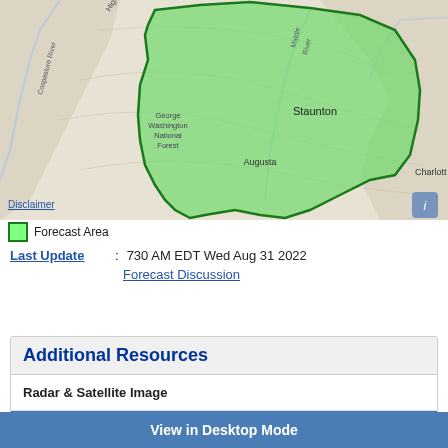[Figure (map): Topographic map showing Augusta County, Virginia area with a green shaded forecast area polygon covering Augusta county and Staunton city. Labels visible include Highland, Cospasture River, George Washington National Forest, Augusta, Staunton, Middle River, Charlott. A blue 'Disclaimer' link appears bottom-left and an info 'i' button bottom-right.]
Forecast Area
Last Update: 730 AM EDT Wed Aug 31 2022
Forecast Discussion
Additional Resources
Radar & Satellite Image
View in Desktop Mode